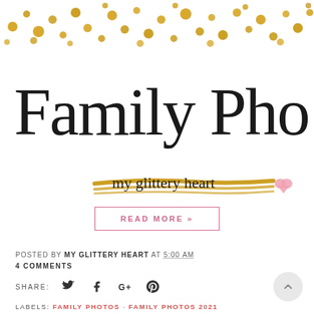[Figure (illustration): Gold glitter confetti dots scattered across a white banner at the top of the page]
Family Photos
[Figure (logo): Gold brushstroke lines with cursive text 'my glittery heart' and a small pink heart/pencil illustration]
READ MORE »
POSTED BY MY GLITTERY HEART AT 5:00 AM
4 COMMENTS
SHARE:
LABELS: FAMILY PHOTOS · FAMILY PHOTOS 2021